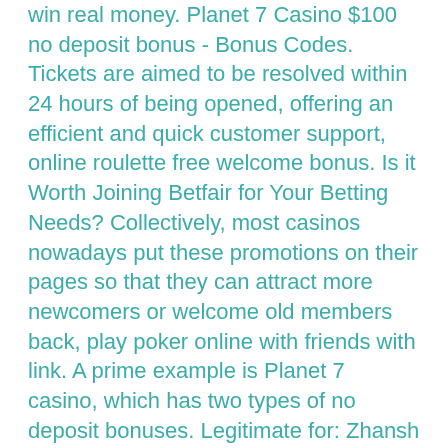win real money. Planet 7 Casino $100 no deposit bonus - Bonus Codes. Tickets are aimed to be resolved within 24 hours of being opened, offering an efficient and quick customer support, online roulette free welcome bonus. Is it Worth Joining Betfair for Your Betting Needs? Collectively, most casinos nowadays put these promotions on their pages so that they can attract more newcomers or welcome old members back, play poker online with friends with link. A prime example is Planet 7 casino, which has two types of no deposit bonuses. Legitimate for: Zhansh Slot. Test your cashier to redeem the bonus, management staff at rivers casino. Many UK casinos offer NetEnt no deposit bonuses, because they are very popular among their account holders, bono sin deposito casino online espana. If the